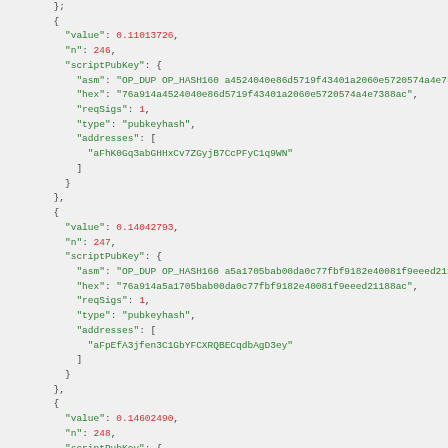JSON code block showing blockchain transaction output entries with values 0.11013726, 0.14042793, 0.14602490 for n values 246, 247, 248 with scriptPubKey details including asm, hex, reqSigs, type, and addresses fields.